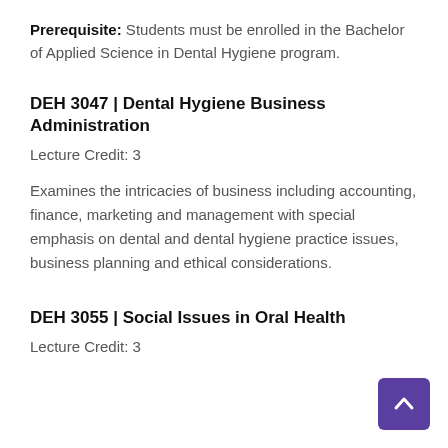Prerequisite: Students must be enrolled in the Bachelor of Applied Science in Dental Hygiene program.
DEH 3047 | Dental Hygiene Business Administration
Lecture Credit: 3
Examines the intricacies of business including accounting, finance, marketing and management with special emphasis on dental and dental hygiene practice issues, business planning and ethical considerations.
DEH 3055 | Social Issues in Oral Health
Lecture Credit: 3